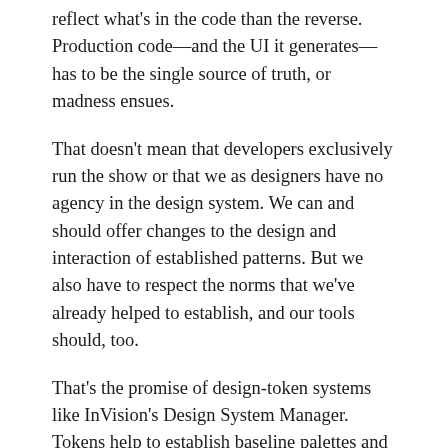reflect what's in the code than the reverse. Production code—and the UI it generates—has to be the single source of truth, or madness ensues.
That doesn't mean that developers exclusively run the show or that we as designers have no agency in the design system. We can and should offer changes to the design and interaction of established patterns. But we also have to respect the norms that we've already helped to establish, and our tools should, too.
That's the promise of design-token systems like InVision's Design System Manager. Tokens help to establish baseline palettes and styles across code and design tools. The system gets embedded in whatever environment where designers or developers prefer to work. Designers and developers alike can edit those rules at the source—within the system itself.
This approach is a step forward in helping designers and